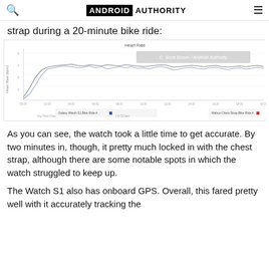ANDROID AUTHORITY
strap during a 20-minute bike ride:
[Figure (continuous-plot): Heart rate comparison line chart showing two series (Galaxy Watch S1 Bike Ride vs Wahoo Chest Strap Bike Ride) over a 20-minute bike ride. The y-axis shows heart rate BPM and the x-axis shows time. Both lines generally track together after the first two minutes. Watermark: C. Scott Brown / Android Authority.]
As you can see, the watch took a little time to get accurate. By two minutes in, though, it pretty much locked in with the chest strap, although there are some notable spots in which the watch struggled to keep up.
The Watch S1 also has onboard GPS. Overall, this fared pretty well with it accurately tracking the